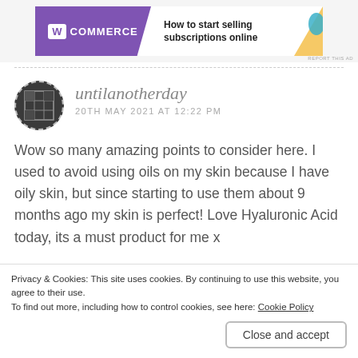[Figure (screenshot): WooCommerce advertisement banner with purple logo and tagline 'How to start selling subscriptions online']
untilanotherday
20TH MAY 2021 AT 12:22 PM
Wow so many amazing points to consider here. I used to avoid using oils on my skin because I have oily skin, but since starting to use them about 9 months ago my skin is perfect! Love Hyaluronic Acid today, its a must product for me x
Privacy & Cookies: This site uses cookies. By continuing to use this website, you agree to their use.
To find out more, including how to control cookies, see here: Cookie Policy
Close and accept